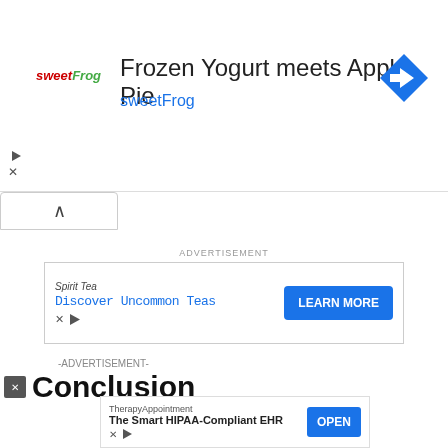[Figure (screenshot): Top banner advertisement for SweetFrog: 'Frozen Yogurt meets Apple Pie' with SweetFrog logo and direction icon]
[Figure (screenshot): Middle advertisement for Spirit Tea: 'Discover Uncommon Teas' with LEARN MORE button]
-ADVERTISEMENT-
Conclusion
[Figure (screenshot): Video overlay: 'How To Open 7 Chakras - Meditation and Healing - SunSigns.Org' with dark background]
Both t... mates can ha... apable of unc... a way
[Figure (screenshot): Bottom overlay ad for TherapyAppointment: 'The Smart HIPAA-Compliant EHR' with OPEN button]